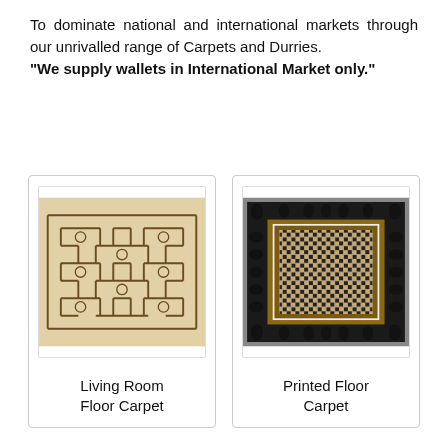To dominate national and international markets through our unrivalled range of Carpets and Durries. "We supply wallets in International Market only."
[Figure (photo): Living Room Floor Carpet - a beige/cream colored carpet with intricate geometric Islamic-style interlocking pattern in dark brown lines]
Living Room Floor Carpet
[Figure (photo): Printed Floor Carpet - a black and white checkered carpet with decorative border featuring black fleur-de-lis pattern]
Printed Floor Carpet